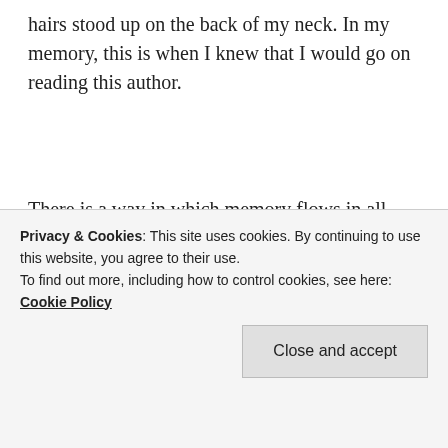hairs stood up on the back of my neck. In my memory, this is when I knew that I would go on reading this author.
There is a way in which memory flows in all directions, in time or in our lives (and I am not sure that time is linear, although we perceive it as such). What I don't know is whether I remember such moments so clearly because they pointed the way forward, or whether they have later taken on a greater significance. I'm
Privacy & Cookies: This site uses cookies. By continuing to use this website, you agree to their use.
To find out more, including how to control cookies, see here: Cookie Policy
London and for a while, having a view of MI6